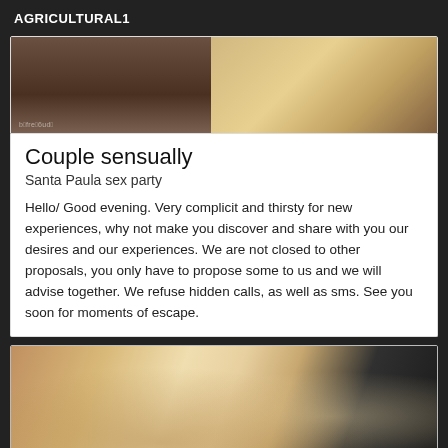AGRICULTURAL1
[Figure (photo): Top portion of a photo showing two people in a dimly lit room]
Couple sensually
Santa Paula sex party
Hello/ Good evening. Very complicit and thirsty for new experiences, why not make you discover and share with you our desires and our experiences. We are not closed to other proposals, you only have to propose some to us and we will advise together. We refuse hidden calls, as well as sms. See you soon for moments of escape.
[Figure (photo): Bottom photo showing close-up of person in white lingerie]